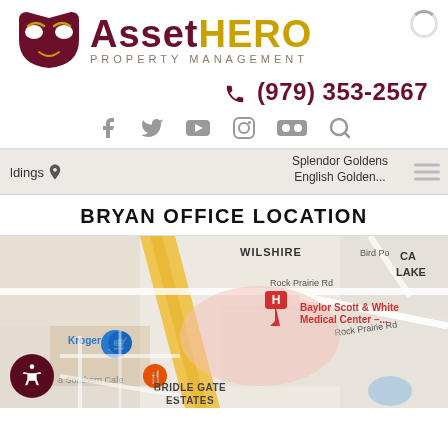[Figure (logo): Asset HERO Property Management logo with stylized shield/mask icon in dark red and gold, text showing 'Asset' in dark red bold and 'HERO' in gold bold, subtitle 'PROPERTY MANAGEMENT' in gray spaced letters]
(979) 353-2567
[Figure (infographic): Social media icons row: Facebook, Twitter, YouTube, Instagram, Flickr, Search/magnifier]
[Figure (map): Google Maps strip showing partial map with location markers for 'Splendor Goldens English Golden' and 'ldings' partial text]
BRYAN OFFICE LOCATION
[Figure (map): Google Maps showing Bryan TX area with WILSHIRE neighborhood, Rock Prairie Rd, Bird Po(nd) road, CA LAKE partial, Baylor Scott & White Medical Center marker (red H pin), Kroger with shopping cart marker (blue), Southern Cafe with fork marker (orange), BRIDLE GATE ESTATES label, accessibility button in bottom left]